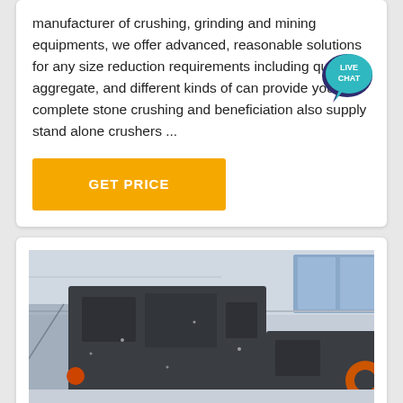manufacturer of crushing, grinding and mining equipments, we offer advanced, reasonable solutions for any size reduction requirements including quarry, aggregate, and different kinds of can provide you the complete stone crushing and beneficiation also supply stand alone crushers ...
[Figure (infographic): Live Chat speech bubble badge in teal/dark blue colors with text LIVE CHAT]
GET PRICE
[Figure (photo): Large industrial crushing/mining machine (dark gray, heavy machinery) photographed inside a large factory/warehouse facility with high ceilings and blue-framed windows. Snow or light particles visible.]